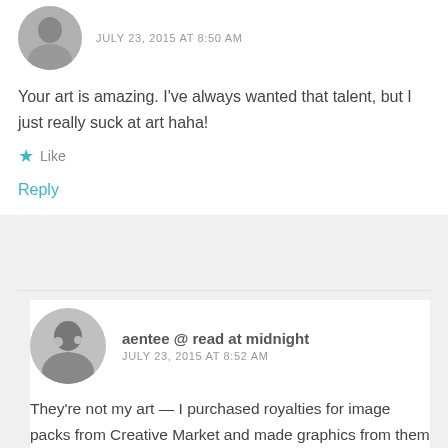JULY 23, 2015 AT 8:50 AM
Your art is amazing. I've always wanted that talent, but I just really suck at art haha!
Like
Reply
aentee @ read at midnight
JULY 23, 2015 AT 8:52 AM
They're not my art — I purchased royalties for image packs from Creative Market and made graphics from them in photoshop. Thank you though 🙂
Like